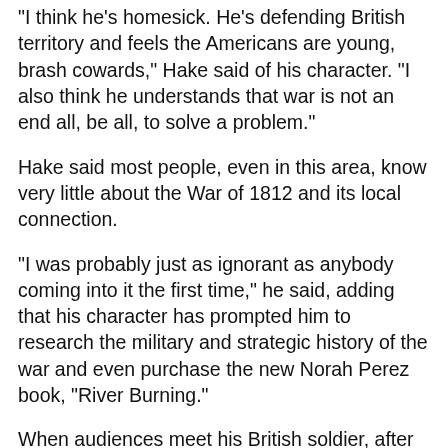"I think he's homesick. He's defending British territory and feels the Americans are young, brash cowards," Hake said of his character. "I also think he understands that war is not an end all, be all, to solve a problem."
Hake said most people, even in this area, know very little about the War of 1812 and its local connection.
"I was probably just as ignorant as anybody coming into it the first time," he said, adding that his character has prompted him to research the military and strategic history of the war and even purchase the new Norah Perez book, "River Burning."
When audiences meet his British soldier, after meeting the American characters, Hake said, "for the first time, they sit back and realize there are two sides to every story."
Torreano might be portraying a Canadian, but in real life, she's a reading teacher at Niagara-Wheatfield's